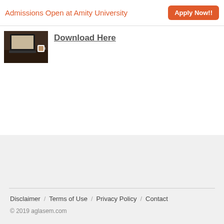Admissions Open at Amity University   Apply Now!!
[Figure (photo): Thumbnail image of a laptop on a desk]
Download Here
Disclaimer / Terms of Use / Privacy Policy / Contact
© 2019 aglasem.com